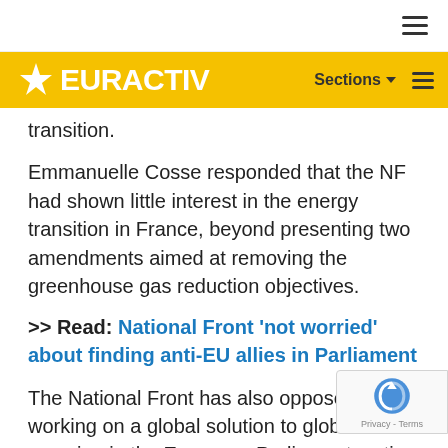EURACTIV — Sections
transition.
Emmanuelle Cosse responded that the NF had shown little interest in the energy transition in France, beyond presenting two amendments aimed at removing the greenhouse gas reduction objectives.
>> Read: National Front 'not worried' about finding anti-EU allies in Parliament
The National Front has also opposed working on a global solution to global warming in the European Parliament, voting against a resolution that called upon the EU's member states to play a constructive role in the Lima climate negotiations.